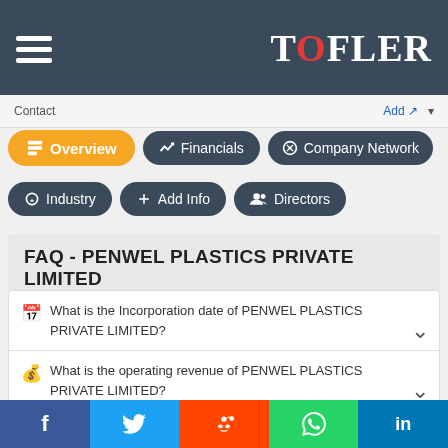TOFLER
Contact | Add
Overview | Financials | Company Network | Industry | Add Info | Directors
FAQ - PENWEL PLASTICS PRIVATE LIMITED
What is the Incorporation date of PENWEL PLASTICS PRIVATE LIMITED?
What is the operating revenue of PENWEL PLASTICS PRIVATE LIMITED?
What is the change in EBITDA of PENWEL PLASTICS PRIVATE LIMITED since last year?
Facebook | Twitter | Reddit | WhatsApp | LinkedIn